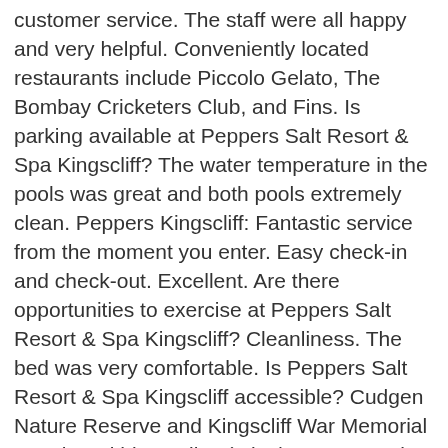customer service. The staff were all happy and very helpful. Conveniently located restaurants include Piccolo Gelato, The Bombay Cricketers Club, and Fins. Is parking available at Peppers Salt Resort & Spa Kingscliff? The water temperature in the pools was great and both pools extremely clean. Peppers Kingscliff: Fantastic service from the moment you enter. Easy check-in and check-out. Excellent. Are there opportunities to exercise at Peppers Salt Resort & Spa Kingscliff? Cleanliness. The bed was very comfortable. Is Peppers Salt Resort & Spa Kingscliff accessible? Cudgen Nature Reserve and Kingscliff War Memorial are also within 3 miles (5 km). Guests praise the locale. Cleanliness. Based on 1248 reviews | All reviews are from verified hotel guests. Yes, guests often enjoy the park view available here. Across the road there was variety of restaurants. See more questions & answers about this hotel from the Tripadvisor community. 4.5. Quite happy with all aspects of the property but small rooms (2 rooms for 4 days) and no safe/lock box a minor disappointment. KINGSCLIFF VILLAGE. Book